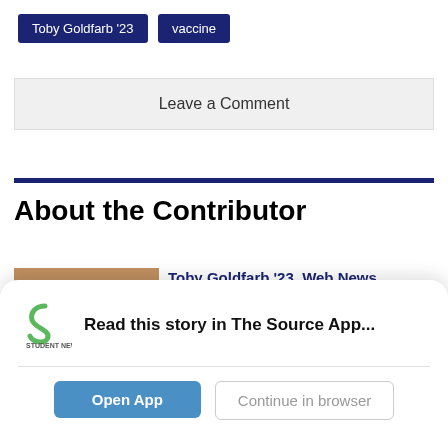Toby Goldfarb '23
vaccine
Leave a Comment
About the Contributor
[Figure (photo): Photo of Toby Goldfarb, a young woman with long dark hair, smiling, in front of a brick wall background.]
Toby Goldfarb '23, Web News Editor
Toby Goldfarb '23 finds that her position as a Web News Editor
Read this story in The Source App...
Open App
Continue in browser